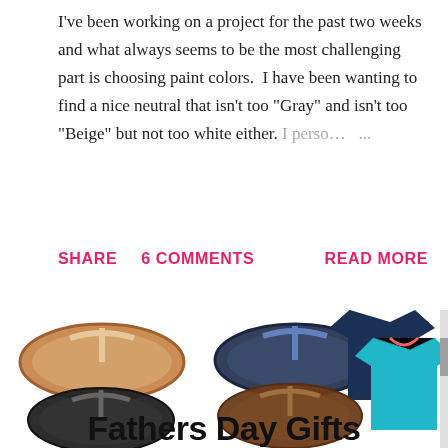I've been working on a project for the past two weeks and what always seems to be the most challenging part is choosing paint colors.  I have been wanting to find a nice neutral that isn't too "Gray" and isn't too "Beige" but not too white either. I perso… ...
SHARE   6 COMMENTS                                READ MORE
[Figure (photo): Collage of men's flip flop sandals (tan, navy, black, brown) and two v-neck t-shirts (navy and teal), with text 'Fathers Day Gifts' overlaid at the bottom.]